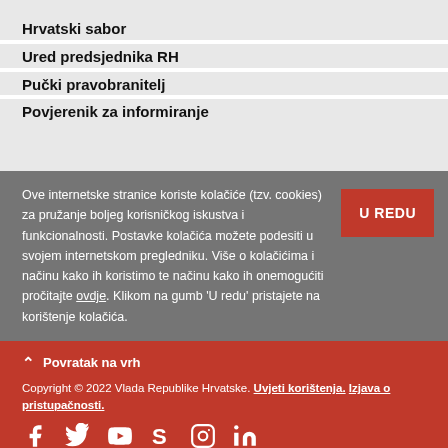Hrvatski sabor
Ured predsjednika RH
Pučki pravobranitelj
Povjerenik za informiranje
Ove internetske stranice koriste kolačiće (tzv. cookies) za pružanje boljeg korisničkog iskustva i funkcionalnosti. Postavke kolačića možete podesiti u svojem internetskom pregledniku. Više o kolačićima i načinu kako ih koristimo te načinu kako ih onemogućiti pročitajte ovdje. Klikom na gumb 'U redu' pristajete na korištenje kolačića.
U REDU
Povratak na vrh
Copyright © 2022 Vlada Republike Hrvatske. Uvjeti korištenja. Izjava o pristupačnosti.
[Figure (illustration): Social media icons: Facebook, Twitter, YouTube, Scribd, Instagram, LinkedIn]